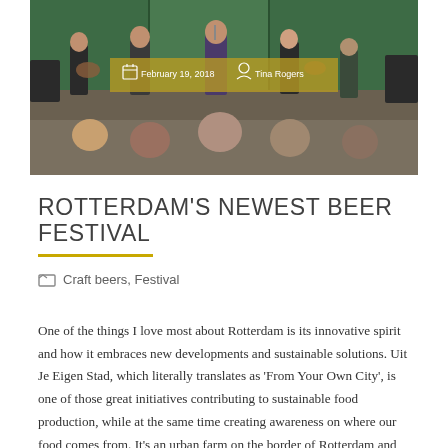[Figure (photo): Band performing on stage with green shipping container background, audience watching in foreground. Overlay shows date 'February 19, 2018' and author 'Tina Rogers' in a semi-transparent golden bar.]
ROTTERDAM'S NEWEST BEER FESTIVAL
Craft beers, Festival
One of the things I love most about Rotterdam is its innovative spirit and how it embraces new developments and sustainable solutions. Uit Je Eigen Stad, which literally translates as 'From Your Own City', is one of those great initiatives contributing to sustainable food production, while at the same time creating awareness on where our food comes from. It's an urban farm on the border of Rotterdam and the city of Schiedam that grows its own produce and turns it into delicious dishes served at their restaurant. Wh at